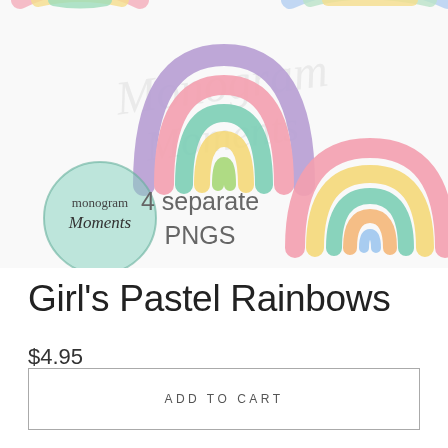[Figure (illustration): Product image showing 4 pastel watercolor rainbow illustrations with a 'Monogram Moments' logo circle and text '4 separate PNGS'. Watermark text 'Monogram Moments' visible in background.]
Girl's Pastel Rainbows
$4.95
ADD TO CART